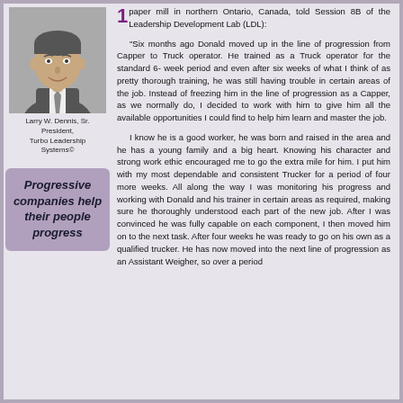[Figure (photo): Black and white headshot photo of Larry W. Dennis, Sr., a middle-aged man in a suit and tie, smiling.]
Larry W. Dennis, Sr.
President,
Turbo Leadership
Systems©
Progressive companies help their people progress
paper mill in northern Ontario, Canada, told Session 8B of the Leadership Development Lab (LDL):
"Six months ago Donald moved up in the line of progression from Capper to Truck operator. He trained as a Truck operator for the standard 6- week period and even after six weeks of what I think of as pretty thorough training, he was still having trouble in certain areas of the job. Instead of freezing him in the line of progression as a Capper, as we normally do, I decided to work with him to give him all the available opportunities I could find to help him learn and master the job.
I know he is a good worker, he was born and raised in the area and he has a young family and a big heart. Knowing his character and strong work ethic encouraged me to go the extra mile for him. I put him with my most dependable and consistent Trucker for a period of four more weeks. All along the way I was monitoring his progress and working with Donald and his trainer in certain areas as required, making sure he thoroughly understood each part of the new job. After I was convinced he was fully capable on each component, I then moved him on to the next task. After four weeks he was ready to go on his own as a qualified trucker. He has now moved into the next line of progression as an Assistant Weigher, so over a period